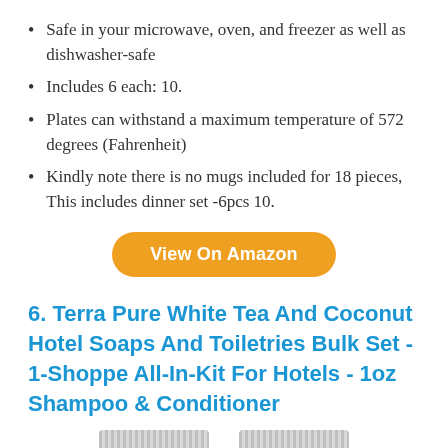Safe in your microwave, oven, and freezer as well as dishwasher-safe
Includes 6 each: 10.
Plates can withstand a maximum temperature of 572 degrees (Fahrenheit)
Kindly note there is no mugs included for 18 pieces, This includes dinner set -6pcs 10.
View On Amazon
6. Terra Pure White Tea And Coconut Hotel Soaps And Toiletries Bulk Set - 1-Shoppe All-In-Kit For Hotels - 1oz Shampoo & Conditioner
[Figure (photo): Two product images (soap/conditioner bars with ribbed textures) shown at the bottom of the page]